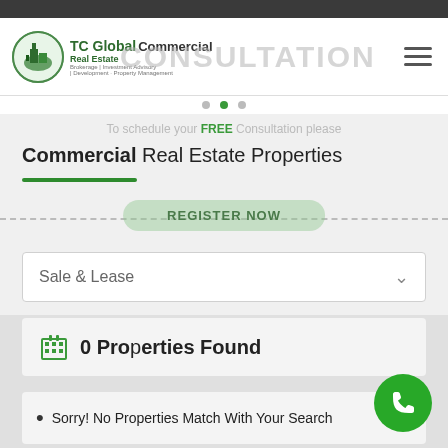[Figure (logo): TC Global Commercial Real Estate logo with green building icon and text]
Commercial Real Estate Properties
To schedule your FREE Consultation please
REGISTER NOW
Sale & Lease
0 Properties Found
Sorry! No Properties Match With Your Search